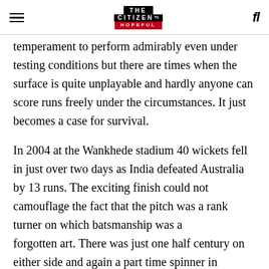THE CITIZEN IS HOPEFUL
temperament to perform admirably even under testing conditions but there are times when the surface is quite unplayable and hardly anyone can score runs freely under the circumstances. It just becomes a case for survival.
In 2004 at the Wankhede stadium 40 wickets fell in just over two days as India defeated Australia by 13 runs. The exciting finish could not camouflage the fact that the pitch was a rank turner on which batsmanship was a forgotten art. There was just one half century on either side and again a part time spinner in Michael Clarke had innings figures of six for nine emphasizing the nature of